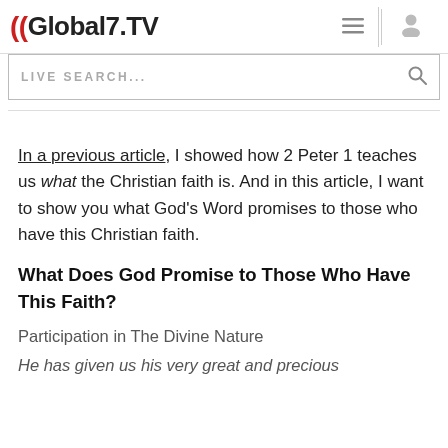Global7.TV
LIVE SEARCH...
In a previous article, I showed how 2 Peter 1 teaches us what the Christian faith is. And in this article, I want to show you what God's Word promises to those who have this Christian faith.
What Does God Promise to Those Who Have This Faith?
Participation in The Divine Nature
He has given us his very great and precious